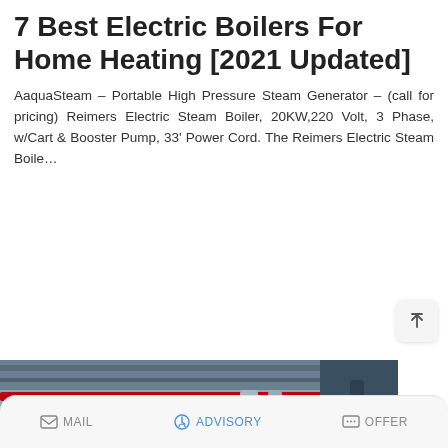7 Best Electric Boilers For Home Heating [2021 Updated]
AaquaSteam – Portable High Pressure Steam Generator – (call for pricing) Reimers Electric Steam Boiler, 20KW,220 Volt, 3 Phase, w/Cart & Booster Pump, 33' Power Cord. The Reimers Electric Steam Boile…
READ MORE
[Figure (photo): Industrial boiler room with large cylindrical tanks, red horizontal pipes, and metal piping infrastructure. A WhatsApp sticker-saving overlay appears in the bottom-left corner with a purple-pink gradient background showing a phone icon and emoji icon.]
MAIL  ADVISORY  OFFER